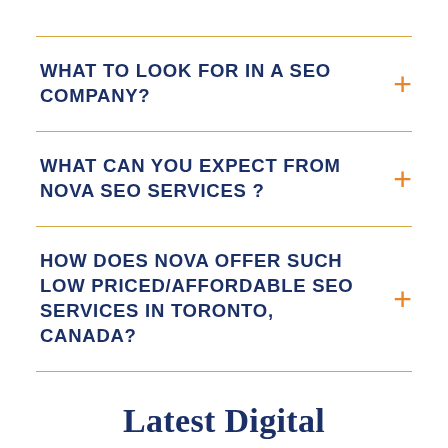WHAT TO LOOK FOR IN A SEO COMPANY?
WHAT CAN YOU EXPECT FROM NOVA SEO SERVICES ?
HOW DOES NOVA OFFER SUCH LOW PRICED/AFFORDABLE SEO SERVICES IN TORONTO, CANADA?
Latest Digital